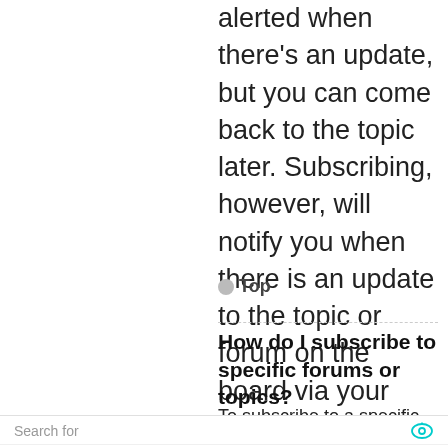alerted when there's an update, but you can come back to the topic later. Subscribing, however, will notify you when there is an update to the topic or forum on the board via your preferred method or methods.
◦ Top
How do I subscribe to specific forums or topics?
To subscribe to a specific
Search for
1. ROOFING COST PER SQUARE
2. HOW TO BUILD A COLD FRAME